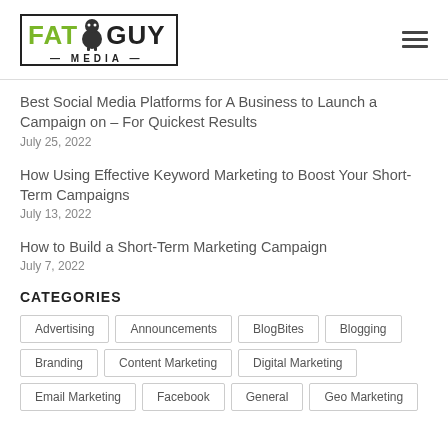[Figure (logo): Fat Guy Media logo with green FAT text, black GUY text, circular character icon, and MEDIA subtitle, inside a rectangular border]
Best Social Media Platforms for A Business to Launch a Campaign on – For Quickest Results
July 25, 2022
How Using Effective Keyword Marketing to Boost Your Short-Term Campaigns
July 13, 2022
How to Build a Short-Term Marketing Campaign
July 7, 2022
CATEGORIES
Advertising
Announcements
BlogBites
Blogging
Branding
Content Marketing
Digital Marketing
Email Marketing
Facebook
General
Geo Marketing